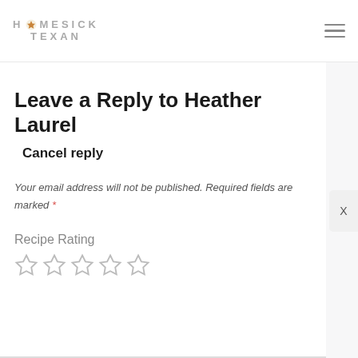HOMESICK TEXAN
Leave a Reply to Heather Laurel
Cancel reply
Your email address will not be published. Required fields are marked *
Recipe Rating
[Figure (other): Five empty star rating icons for recipe rating]